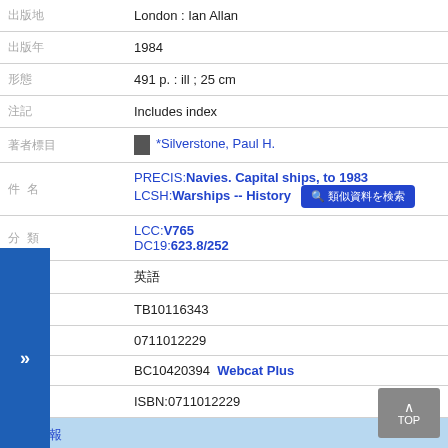| 出版地 | London : Ian Allan |
| 出版年 | 1984 |
| 形態 | 491 p. : ill ; 25 cm |
| 注記 | Includes index |
| 著者標目 | *Silverstone, Paul H. |
| 件名標目 | PRECIS:Navies. Capital ships, to 1983
LCSH:Warships -- History [類似資料を検索] |
| 分類 | LCC:V765
DC19:623.8/252 |
| 言語 | 英語 |
| 書誌ID | TB10116343 |
| ISBN | 0711012229 |
| NCID | BC10420394  Webcat Plus |
| 書誌 | ISBN:0711012229 |
所蔵情報
この資料の所蔵館を確認してください